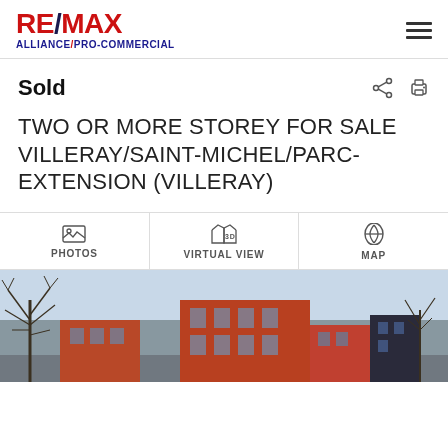RE/MAX ALLIANCE/PRO-COMMERCIAL
Sold
TWO OR MORE STOREY FOR SALE VILLERAY/SAINT-MICHEL/PARC-EXTENSION (VILLERAY)
PHOTOS | 3D VIRTUAL VIEW | MAP
[Figure (photo): Exterior photo of a multi-storey residential building in Villeray, red brick facade, bare trees, blue sky]